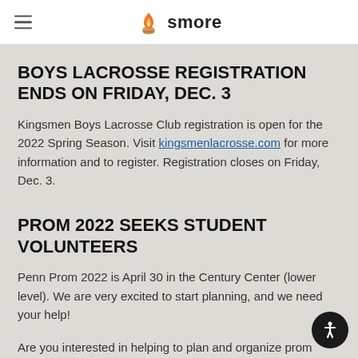smore
BOYS LACROSSE REGISTRATION ENDS ON FRIDAY, DEC. 3
Kingsmen Boys Lacrosse Club registration is open for the 2022 Spring Season. Visit kingsmenlacrosse.com for more information and to register. Registration closes on Friday, Dec. 3.
PROM 2022 SEEKS STUDENT VOLUNTEERS
Penn Prom 2022 is April 30 in the Century Center (lower level). We are very excited to start planning, and we need your help!
Are you interested in helping to plan and organize prom